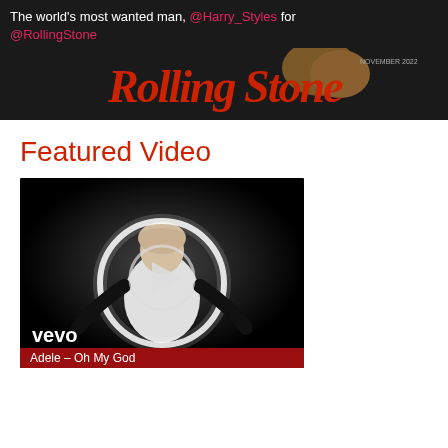The world's most wanted man, @Harry_Styles for @RollingStone
[Figure (screenshot): Rolling Stone magazine cover banner with red italic logo text and person's hair visible]
Featured Video
[Figure (screenshot): Vevo video thumbnail: black and white image of Adele surrounded by glowing circle hoop, wearing white outfit with long black gloves, play button overlay. Caption bar reads: Adele – Oh My God]